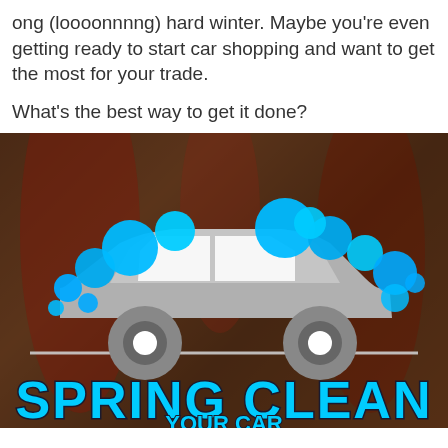ong (loooonnnng) hard winter. Maybe you're even getting ready to start car shopping and want to get the most for your trade.
What's the best way to get it done?
[Figure (illustration): Illustration of a gray car silhouette with blue soap bubbles on a dark photographic background of a car being washed. Text 'SPRING CLEAN' in large cyan letters at the bottom with dark outline.]
SPRING CLEAN